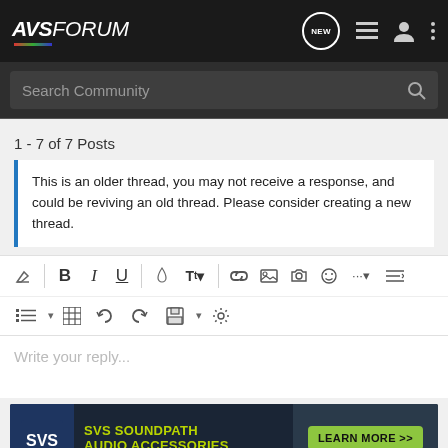AVS FORUM — Search Community
1 - 7 of 7 Posts
This is an older thread, you may not receive a response, and could be reviving an old thread. Please consider creating a new thread.
[Figure (screenshot): Text editor toolbar with formatting buttons: eraser, bold, italic, underline, color, font size, link, image, camera, emoji, more, align; second row: list, table, undo, redo, save, settings]
Write your reply...
[Figure (infographic): SVS SoundPath Audio Accessories advertisement banner with blue logo, green text, and Learn More button]